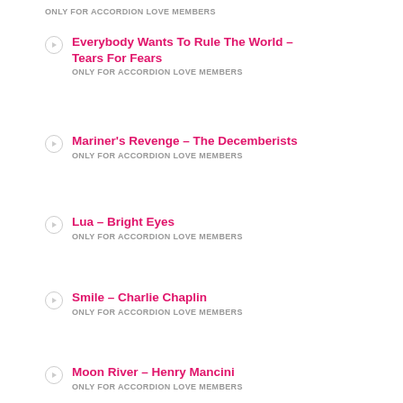Everybody Wants To Rule The World – Tears For Fears
ONLY FOR ACCORDION LOVE MEMBERS
Mariner's Revenge – The Decemberists
ONLY FOR ACCORDION LOVE MEMBERS
Lua – Bright Eyes
ONLY FOR ACCORDION LOVE MEMBERS
Smile – Charlie Chaplin
ONLY FOR ACCORDION LOVE MEMBERS
Moon River – Henry Mancini
ONLY FOR ACCORDION LOVE MEMBERS